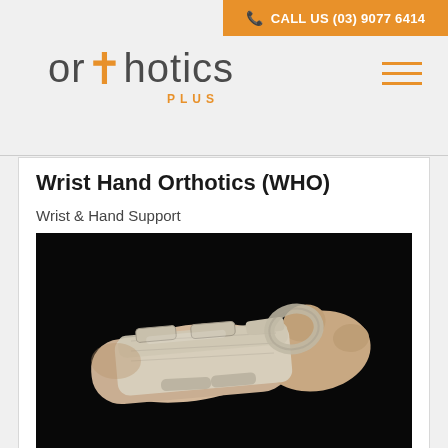CALL US (03) 9077 6414
[Figure (logo): Orthotics Plus logo with orange cross symbol and 'PLUS' subtitle]
Wrist Hand Orthotics (WHO)
Wrist & Hand Support
[Figure (photo): Close-up photo of a hand and wrist wearing a beige/cream colored wrist hand orthosis (WHO) brace with velcro straps, against a black background]